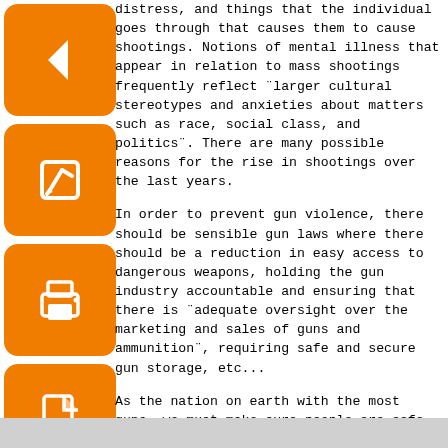distress, and things that the individual goes through that causes them to cause shootings. Notions of mental illness that appear in relation to mass shootings frequently reflect ¨larger cultural stereotypes and anxieties about matters such as race, social class, and politics¨. There are many possible reasons for the rise in shootings over the last years.
In order to prevent gun violence, there should be sensible gun laws where there should be a reduction in easy access to dangerous weapons, holding the gun industry accountable and ensuring that there is ¨adequate oversight over the marketing and sales of guns and ammunition¨, requiring safe and secure gun storage, etc...
As the nation on earth with the most guns, we must make sure people are safe and that they feel safe going out without having to worry about shootings happening. What do you think we should do in order to stop these shootings from happening/increasing?